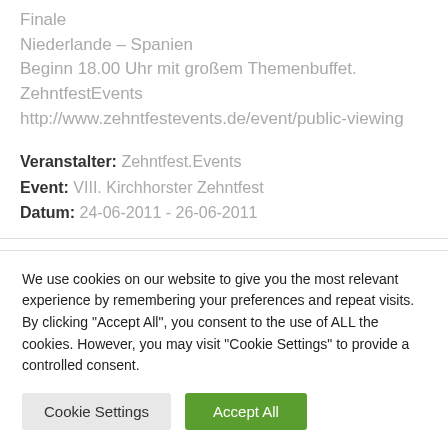Finale
Niederlande – Spanien
Beginn 18.00 Uhr mit großem Themenbuffet.
ZehntfestEvents
http://www.zehntfestevents.de/event/public-viewing
Veranstalter: Zehntfest.Events
Event: VIII. Kirchhorster Zehntfest
Datum: 24-06-2011 - 26-06-2011
We use cookies on our website to give you the most relevant experience by remembering your preferences and repeat visits. By clicking "Accept All", you consent to the use of ALL the cookies. However, you may visit "Cookie Settings" to provide a controlled consent.